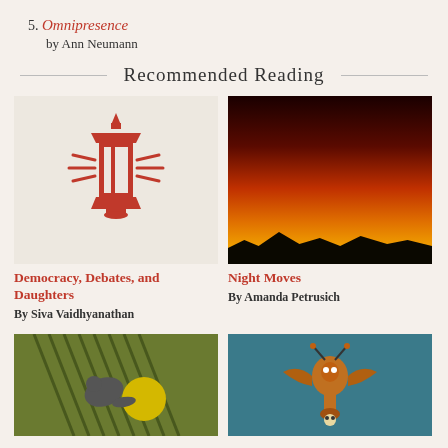5. Omnipresence by Ann Neumann
Recommended Reading
[Figure (illustration): Book cover for Democracy, Debates, and Daughters — red lantern icon on light gray background]
Democracy, Debates, and Daughters
By Siva Vaidhyanathan
[Figure (photo): Night sky photo with vivid red, orange and yellow aurora or twilight glow over dark tree silhouettes — cover for Night Moves]
Night Moves
By Amanda Petrusich
[Figure (illustration): Collage-style book cover with abstract figure, diagonal lines, and yellow circle on green background]
[Figure (illustration): Ornate illustration of a masked insect-like figure on teal background]